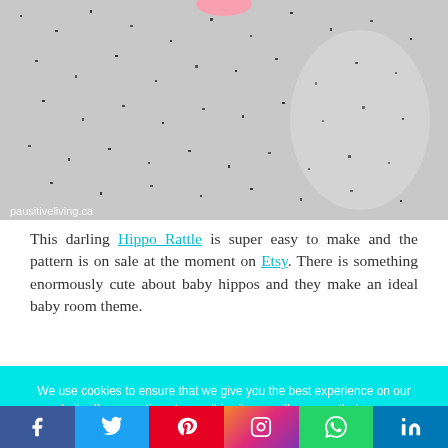[Figure (photo): Close-up photo of a grey speckled surface (granite-like counter or floor) with a small pink object at the top center, watermark text 'pausitiveliving.ca' in lower left corner]
This darling Hippo Rattle is super easy to make and the pattern is on sale at the moment on Etsy. There is something enormously cute about baby hippos and they make an ideal baby room theme.
[Figure (photo): Bottom portion of a photo showing a grey speckled surface with small pink crocheted hippo pieces visible]
We use cookies to ensure that we give you the best experience on our website. If you continue to use this site we will assume that you are happy with it.